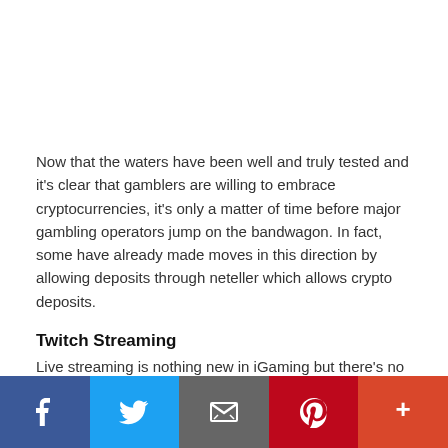Now that the waters have been well and truly tested and it's clear that gamblers are willing to embrace cryptocurrencies, it's only a matter of time before major gambling operators jump on the bandwagon. In fact, some have already made moves in this direction by allowing deposits through neteller which allows crypto deposits.
Twitch Streaming
Live streaming is nothing new in iGaming but there's no doubt that it has exploded in popularity in recent years.
[Figure (infographic): Social sharing bar with Facebook, Twitter, Email, Pinterest, and More buttons]